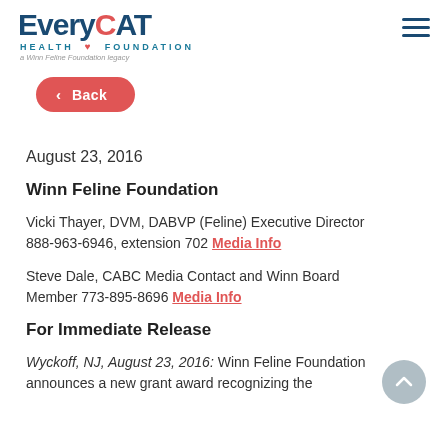EveryCAT Health Foundation – a Winn Feline Foundation legacy
[Figure (logo): EveryCAT Health Foundation logo with tagline 'a Winn Feline Foundation legacy']
Back
August 23, 2016
Winn Feline Foundation
Vicki Thayer, DVM, DABVP (Feline) Executive Director 888-963-6946, extension 702 Media Info
Steve Dale, CABC Media Contact and Winn Board Member 773-895-8696 Media Info
For Immediate Release
Wyckoff, NJ, August 23, 2016: Winn Feline Foundation announces a new grant award recognizing the